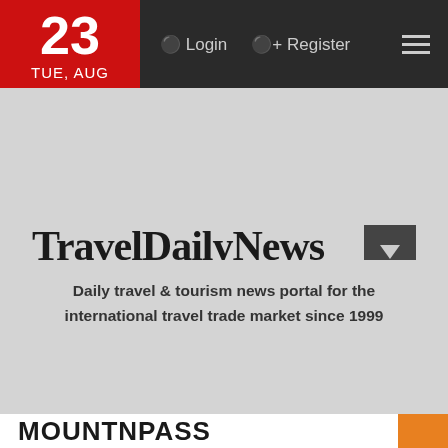23 TUE, AUG | Login | Register
[Figure (logo): TravelDailyNews International .com logo with red banner]
Daily travel & tourism news portal for the international travel trade market since 1999
search ...
GO
MOUNTNPASS